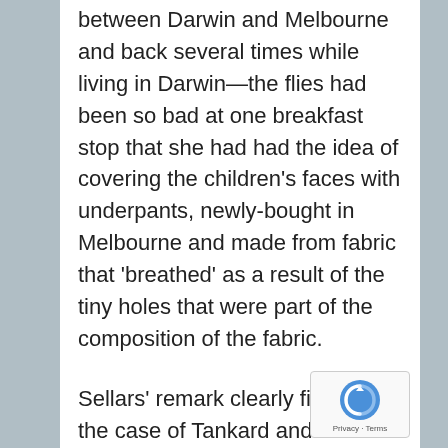between Darwin and Melbourne and back several times while living in Darwin—the flies had been so bad at one breakfast stop that she had had the idea of covering the children's faces with underpants, newly-bought in Melbourne and made from fabric that 'breathed' as a result of the tiny holes that were part of the composition of the fabric.
Sellars' remark clearly fits well in the case of Tankard and Walzer. And Tankard of course would go onto use a similar technique and draw on many memories from her childhood and young adulthood when making her own